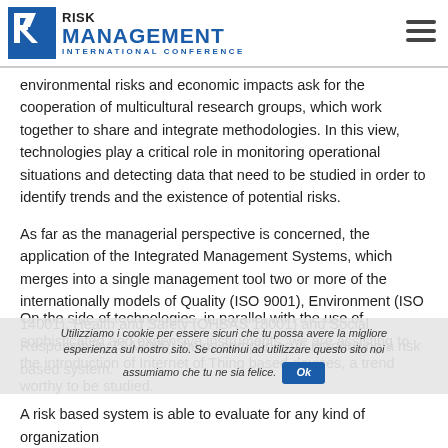RISK MANAGEMENT INTERNATIONAL CONFERENCE
environmental risks and economic impacts ask for the cooperation of multicultural research groups, which work together to share and integrate methodologies. In this view, technologies play a critical role in monitoring operational situations and detecting data that need to be studied in order to identify trends and the existence of potential risks.
As far as the managerial perspective is concerned, the application of the Integrated Management Systems, which merges into a single management tool two or more of the internationally models of Quality (ISO 9001), Environment (ISO 14001), Health and Safety (OHSAS 18001) and Social Responsibility (SA8000), helps companies in introducing a risk based system.
On the side of technologies, in parallel with the use of sophisticated and expensive instruments, we are assisting to the introduction of Internet of Thing based devices, a trend worthy to be studied.
A risk based system is able to evaluate for any kind of organization...
Utilizziamo i cookie per essere sicuri che tu possa avere la migliore esperienza sul nostro sito. Se continui ad utilizzare questo sito noi assumiamo che tu ne sia felice. Ok